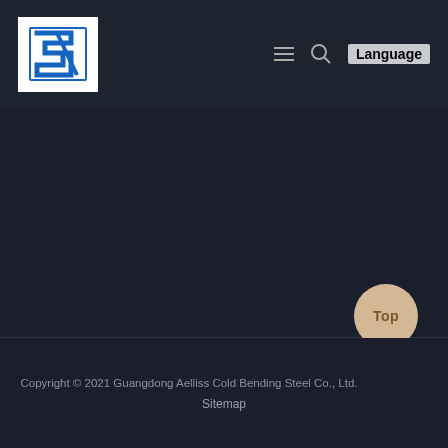[Figure (logo): ST (STMicroelectronics-style) logo — white box with blue stylized S and T letters]
≡  🔍  Language
Copyright © 2021 Guangdong Aelliss Cold Bending Steel Co., Ltd.
Sitemap